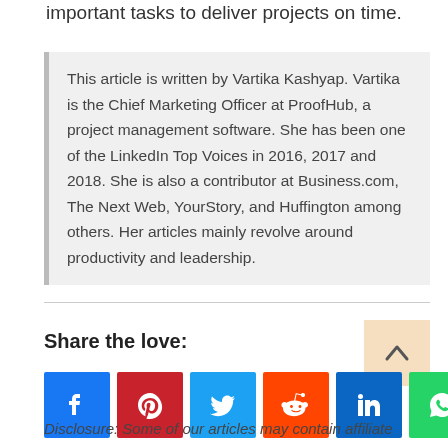important tasks to deliver projects on time.
This article is written by Vartika Kashyap. Vartika is the Chief Marketing Officer at ProofHub, a project management software. She has been one of the LinkedIn Top Voices in 2016, 2017 and 2018. She is also a contributor at Business.com, The Next Web, YourStory, and Huffington among others. Her articles mainly revolve around productivity and leadership.
Share the love:
[Figure (infographic): Social sharing icons: Facebook, Pinterest, Twitter, Reddit, LinkedIn, WhatsApp, More]
Disclosure: Some of our articles may contain affiliate